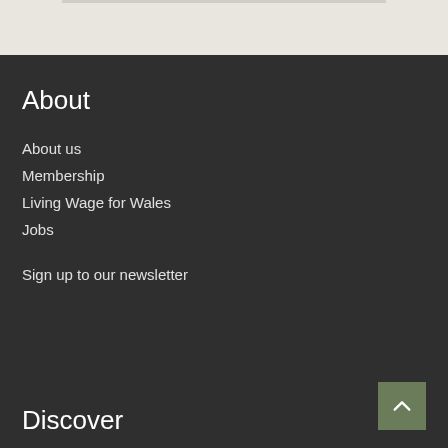About
About us
Membership
Living Wage for Wales
Jobs
Sign up to our newsletter
Discover